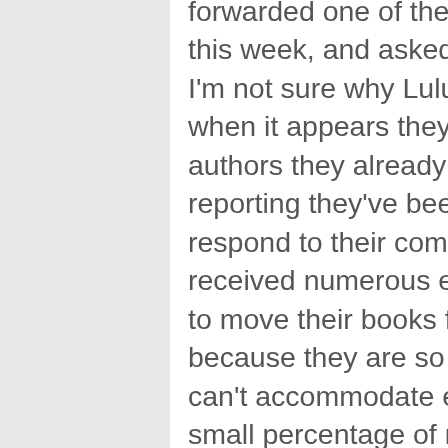forwarded one of these partnership emails to me this week, and asked if I thought it was a good deal. I'm not sure why Lulu is trying to expand even more when it appears they can't even take care of all the authors they already have. Some authors are reporting they've been waiting weeks for Lulu to respond to their complaints. At BookLocker, we've received numerous emails from authors who want to move their books from Lulu to BookLocker because they are so frustrated with Lulu. While we can't accommodate everyone (we only publish a small percentage of manuscripts submitted for consideration because, unlike most POD publishers, we do screen for quality and salability), I am always happy to meet new authors. If we can't help them at BookLocker, I refer them to another company that has a good reputation. (No, we don't get anything at all for referring authors elsewhere.) For those who are accepted, I work with all BookLocker authors one-on-one during the